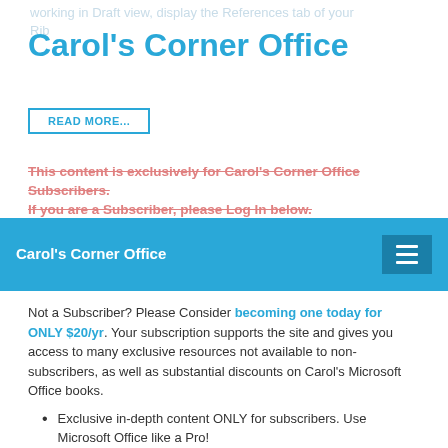working in Draft view, display the References tab of your Rib...
Carol's Corner Office
READ MORE...
This content is exclusively for Carol's Corner Office Subscribers.
If you are a Subscriber, please Log In below.
Carol's Corner Office (navigation bar)
Not a Subscriber? Please Consider becoming one today for ONLY $20/yr. Your subscription supports the site and gives you access to many exclusive resources not available to non-subscribers, as well as substantial discounts on Carol's Microsoft Office books.
Exclusive in-depth content ONLY for subscribers. Use Microsoft Office like a Pro!
Large color screenshots illustrate the instructions so following along is easy!
Email notification of each new exclusive post for subscribers!
Exclusive discounts on Office books and other products!